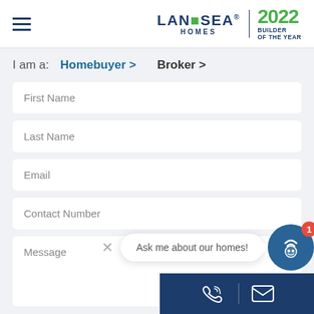[Figure (logo): Landsea Homes logo with 2022 Builder of the Year badge]
I am a:   Homebuyer >   Broker >
First Name
Last Name
Email
Contact Number
Message
[Figure (illustration): Chat bot popup with speech bubble saying 'Ask me about our homes!' and robot icon with badge showing 1]
[Figure (illustration): Bottom bar with phone and email icons]